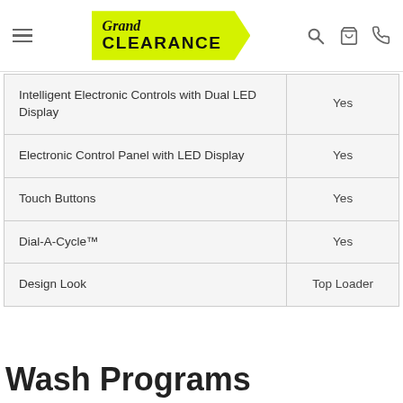Grand Clearance
| Feature | Value |
| --- | --- |
| Intelligent Electronic Controls with Dual LED Display | Yes |
| Electronic Control Panel with LED Display | Yes |
| Touch Buttons | Yes |
| Dial-A-Cycle™ | Yes |
| Design Look | Top Loader |
Wash Programs